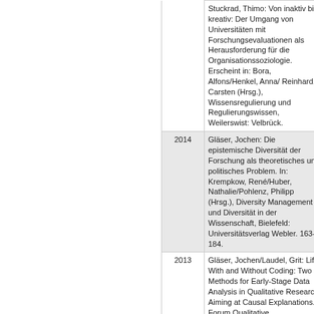|  | Year | Reference | ch... |
| --- | --- | --- | --- |
|  |  | Stuckrad, Thimo: Von inaktiv bis kreativ: Der Umgang von Universitäten mit Forschungsevaluationen als Herausforderung für die Organisationssoziologie. Erscheint in: Bora, Alfons/Henkel, Anna/Reinhard, Carsten (Hrsg.), Wissensregulierung und Regulierungswissen, Weilerswist: Velbrück. | ch... |
|  | 2014 | Gläser, Jochen: Die epistemische Diversität der Forschung als theoretisches und politisches Problem. In: Krempkow, René/Huber, Nathalie/Pohlenz, Philipp (Hrsg.), Diversity Management und Diversität in der Wissenschaft, Bielefeld: Universitätsverlag Webler. 163-184. | Bo... ch... |
|  | 2013 | Gläser, Jochen/Laudel, Grit: Life With and Without Coding: Two Methods for Early-Stage Data Analysis in Qualitative Research Aiming at Causal Explanations. Forum Qualitative Sozialforschung / Forum: Qualitative Social Research, [S.l.], v. 14, n. 2, mar. 2013. | Es... |
|  | 2013 | Gläser, Jochen/von Stuckrad, Thimo: Reaktionen auf Evaluationen: Die Anwendung neuer... | Bo... ch... |